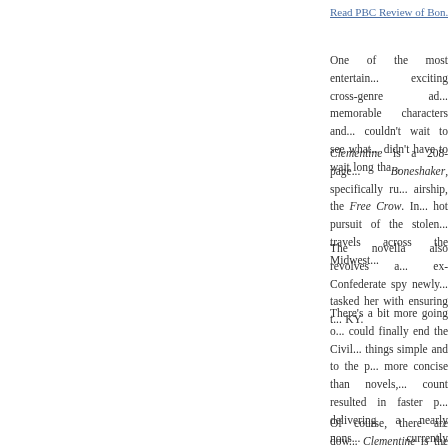Read PBC Review of Bon...
One of the most entertaining, exciting cross-genre ad... memorable characters and... couldn't wait to see what... didn't have to wait long tha...
Clementine is a 208-page... Boneshaker, specifically ru... airship, the Free Crow. In... hot pursuit of the stolen... travels across the Midwest...
The novella also revolves a... ex-Confederate spy newly... tasked her with ensuring t... KY.
There's a bit more going o... could finally end the Civil... things simple and to the p... more concise than novels,... count resulted in faster p... delivering a nearly nons... currently produced by Holl...
Of course, there are dow... Clementine is the shallow... Ossian Steen, Doctor Sm... conclusion. There are...